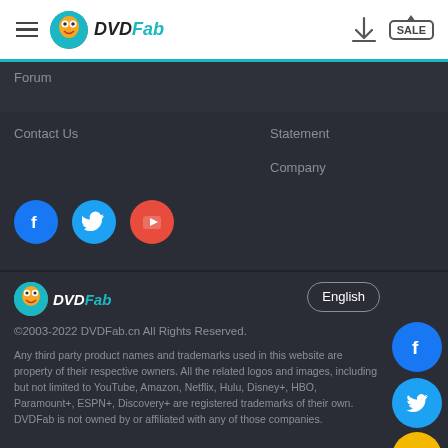DVDFab navigation bar with hamburger menu, DVDFab logo, download icon, and SALE icon
Forum
Contact Us
Statement
Company
[Figure (logo): Social media icons row: Facebook (blue circle), Twitter (light blue circle), YouTube (red circle)]
[Figure (logo): DVDFab logo bottom left]
English
©2003-2022 DVDFab.cn All Rights Reserved.
Any third party product names and trademarks used in this website are property of their respective owners. All the related logos and images, including but not limited to YouTube, Amazon, Netflix, Hulu, Disney+, HBO, Paramount+, ESPN+, Discovery+ are registered trademarks of their own. DVDFab is not owned by or affiliated with any of those companies.